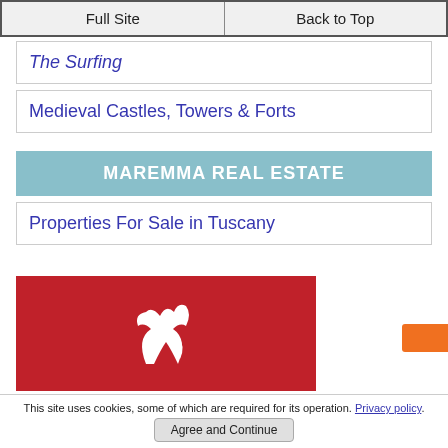Full Site | Back to Top
The Surfing
Medieval Castles, Towers & Forts
MAREMMA REAL ESTATE
Properties For Sale in Tuscany
[Figure (logo): Red background with white bird/flame logo mark]
This site uses cookies, some of which are required for its operation. Privacy policy.
Agree and Continue